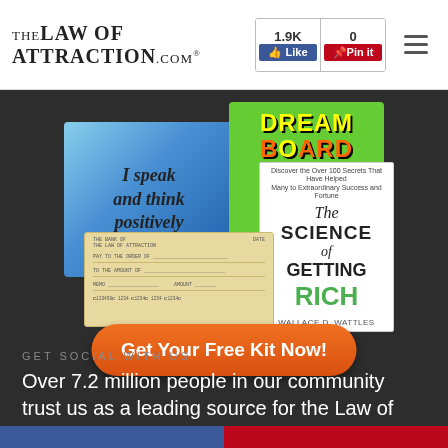TheLawOfAttraction.com® | 1.9K Like | 0 Pin it
[Figure (illustration): Promotional image collage showing an affirmation card reading 'I speak and think positively', a Dream Board book cover, The Science of Getting Rich book cover, and a blank check]
Get Your Free Kit Now!
GET SOCIAL WITH US
Over 7.2 million people in our community trust us as a leading source for the Law of Attraction.